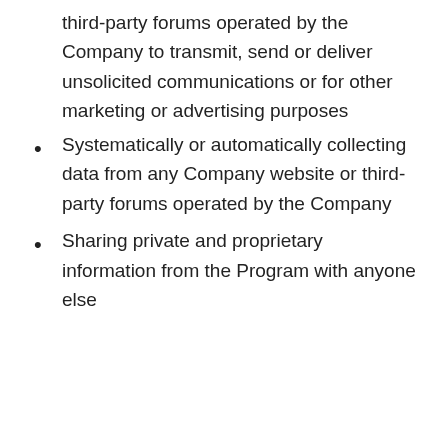third-party forums operated by the Company to transmit, send or deliver unsolicited communications or for other marketing or advertising purposes
Systematically or automatically collecting data from any Company website or third-party forums operated by the Company
Sharing private and proprietary information from the Program with anyone else